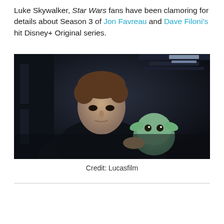Luke Skywalker, Star Wars fans have been clamoring for details about Season 3 of Jon Favreau and Dave Filoni's hit Disney+ Original series.
[Figure (photo): A young man in a black outfit holding a small green alien creature (Grogu/Baby Yoda) in a dark corridor setting, resembling a scene from The Mandalorian.]
Credit: Lucasfilm